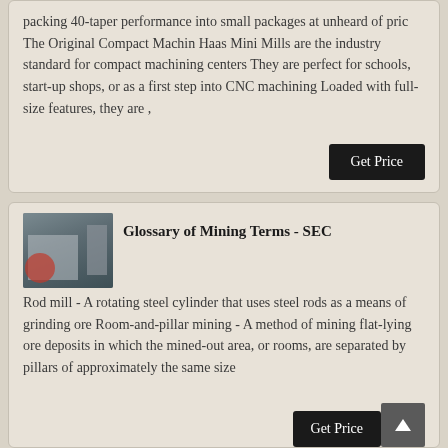packing 40-taper performance into small packages at unheard of pric The Original Compact Machin Haas Mini Mills are the industry standard for compact machining centers They are perfect for schools, start-up shops, or as a first step into CNC machining Loaded with full-size features, they are ,
[Figure (photo): Industrial machinery or equipment photo, showing what appears to be a dust collector or industrial processing unit with pipes and red motor component]
Glossary of Mining Terms - SEC
Rod mill - A rotating steel cylinder that uses steel rods as a means of grinding ore Room-and-pillar mining - A method of mining flat-lying ore deposits in which the mined-out area, or rooms, are separated by pillars of approximately the same size